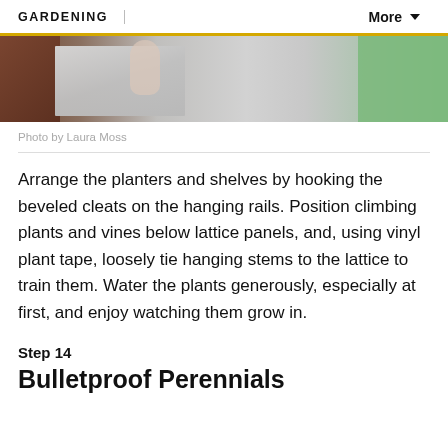GARDENING   More
[Figure (photo): Partial photo showing a person holding a metal/galvanized planter or shelf piece, with wood and green shirt visible in background]
Photo by Laura Moss
Arrange the planters and shelves by hooking the beveled cleats on the hanging rails. Position climbing plants and vines below lattice panels, and, using vinyl plant tape, loosely tie hanging stems to the lattice to train them. Water the plants generously, especially at first, and enjoy watching them grow in.
Step 14
Bulletproof Perennials